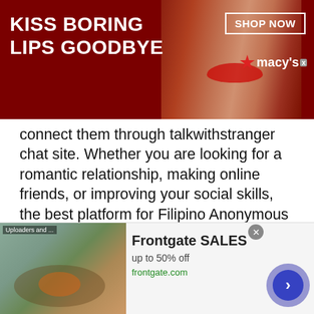[Figure (screenshot): Macy's advertisement banner with dark red background, woman's face with red lipstick in center, bold white text 'KISS BORING LIPS GOODBYE' on left, 'SHOP NOW' button and Macy's star logo on right]
connect them through talkwithstranger chat site. Whether you are looking for a romantic relationship, making online friends, or improving your social skills, the best platform for Filipino Anonymous Chat is talkwithstranger.
There are more than 800 000 monthly users for Talkwithstranger and the number of users expands with 12000 more users joining the stranger chat app every day. These numbers are enough to estimate the popularity of the platform. Unlike most ordinary chat
[Figure (screenshot): Frontgate SALES advertisement banner at bottom: furniture image on left, text 'Frontgate SALES up to 50% off frontgate.com' in center, circular arrow button on right]